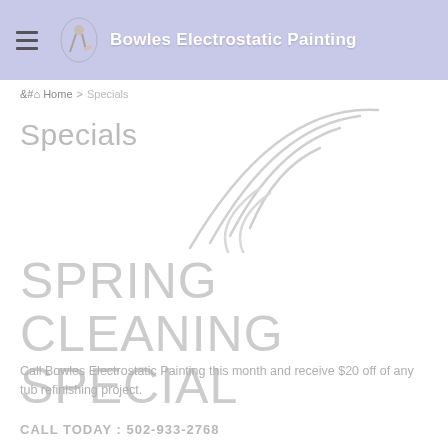Bowles Electrostatic Painting
Home > Specials
Specials
[Figure (illustration): WiFi/signal arc waves decorative background graphic in light gray]
SPRING CLEANING SPECIAL
Call Bowles Electrostatic Painting this month and receive $20 off of any tub refinishing project.
CALL TODAY : 502-933-2768